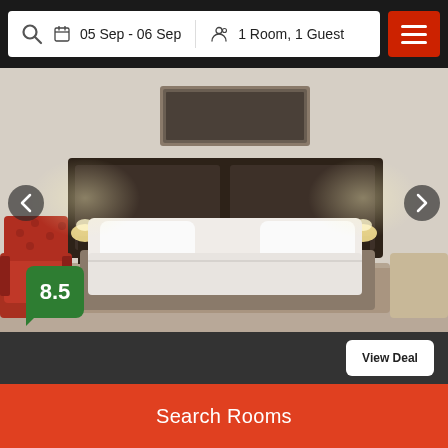05 Sep - 06 Sep   1 Room, 1 Guest
[Figure (photo): Hotel room photo showing a large bed with white bedding, dark wooden headboard with wall-mounted lamps, a red patterned armchair on the left, and a framed picture on the wall above the headboard. A rating badge showing 8.5 in green is overlaid at the bottom left.]
Very good  645 reviews  0.2 km
Avari Xpress Gulberg
★★★★
Main Boulevard Gulberg 14-k Main Boulevard Gulberg, Lahore
Search Rooms